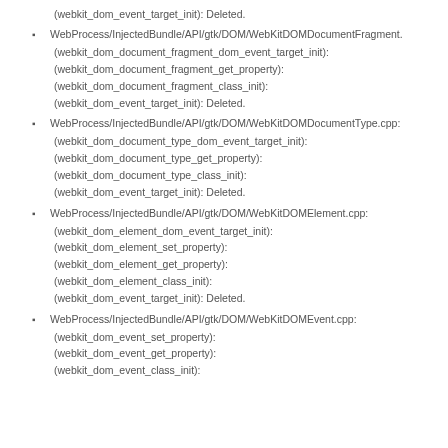(webkit_dom_event_target_init): Deleted.
WebProcess/InjectedBundle/API/gtk/DOM/WebKitDOMDocumentFragment.
(webkit_dom_document_fragment_dom_event_target_init):
(webkit_dom_document_fragment_get_property):
(webkit_dom_document_fragment_class_init):
(webkit_dom_event_target_init): Deleted.
WebProcess/InjectedBundle/API/gtk/DOM/WebKitDOMDocumentType.cpp:
(webkit_dom_document_type_dom_event_target_init):
(webkit_dom_document_type_get_property):
(webkit_dom_document_type_class_init):
(webkit_dom_event_target_init): Deleted.
WebProcess/InjectedBundle/API/gtk/DOM/WebKitDOMElement.cpp:
(webkit_dom_element_dom_event_target_init):
(webkit_dom_element_set_property):
(webkit_dom_element_get_property):
(webkit_dom_element_class_init):
(webkit_dom_event_target_init): Deleted.
WebProcess/InjectedBundle/API/gtk/DOM/WebKitDOMEvent.cpp:
(webkit_dom_event_set_property):
(webkit_dom_event_get_property):
(webkit_dom_event_class_init):